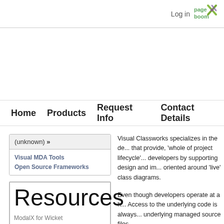Log in
[Figure (logo): pagebloom logo with green and purple X mark]
Home  Products  Request Info  Contact Details
(unknown) »
Visual MDA Tools
Open Source Frameworks
Resources
ModalX for Wicket
Visual Classworks specializes in the de... that provide, 'whole of project lifecycle'... developers by supporting design and im... oriented around 'live' class diagrams.
Even though developers operate at a h... Access to the underlying code is always... underlying managed source files.
Visual Object Orien...